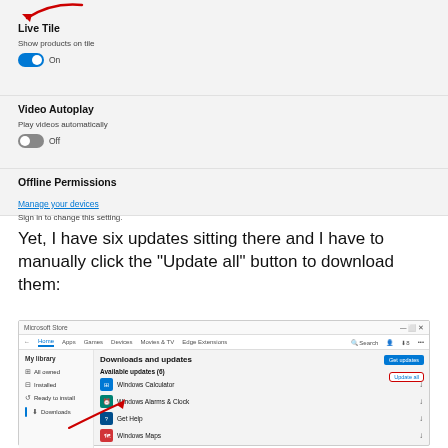[Figure (screenshot): Windows Store settings screenshot showing Live Tile section with 'Show products on tile' toggle On (blue), Video Autoplay section with 'Play videos automatically' toggle Off (grey), and Offline Permissions section with 'Manage your devices' link and 'Sign in to change this setting.' text. A red arrow annotation is visible at the top.]
Yet, I have six updates sitting there and I have to manually click the "Update all" button to download them:
[Figure (screenshot): Microsoft Store Downloads and updates page showing Available updates (6) with apps: Windows Calculator, Windows Alarms & Clock, Get Help, Windows Maps. A 'Get updates' blue button and 'Update all' button circled in red are visible. A red arrow annotation points to the Get Help app row.]